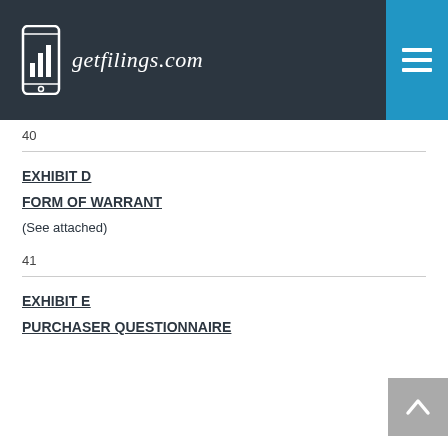getfilings.com
40
EXHIBIT D
FORM OF WARRANT
(See attached)
41
EXHIBIT E
PURCHASER QUESTIONNAIRE